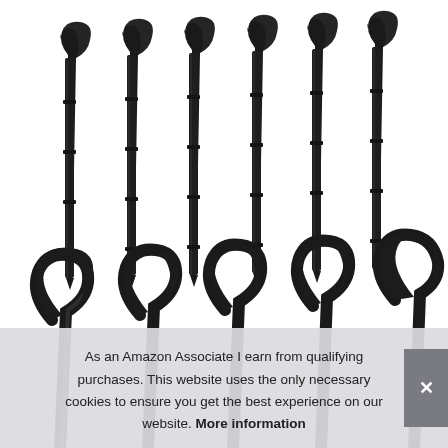[Figure (photo): Multiple black plastic garden stakes arranged in two rows. The stakes have a hook/clip at the top and a pointed shaft for driving into the ground. First row shows 7 stakes standing upright, second row shows the tops of more stakes below.]
As an Amazon Associate I earn from qualifying purchases. This website uses the only necessary cookies to ensure you get the best experience on our website. More information